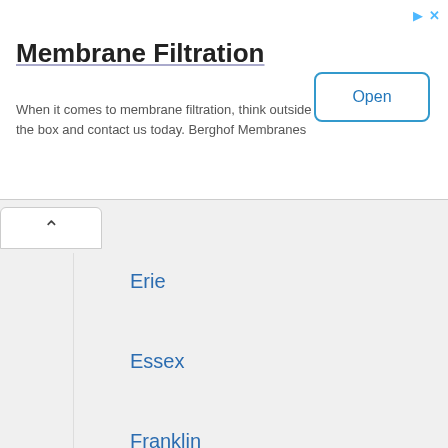[Figure (screenshot): Advertisement banner for Membrane Filtration by Berghof Membranes with Open button]
Membrane Filtration
When it comes to membrane filtration, think outside the box and contact us today. Berghof Membranes
Erie
Essex
Franklin
Fulton